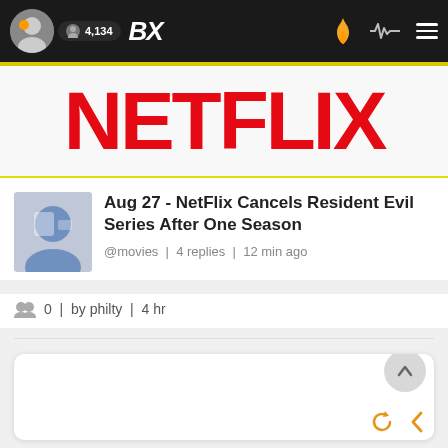BX | 4,134
[Figure (screenshot): Netflix logo banner in red bold letters on white background]
Aug 27 - NetFlix Cancels Resident Evil Series After One Season
@movies | 4 replies | 12 min ago
0 | by philty | 4 hr
[Figure (screenshot): White content card with scroll-to-top button and refresh/back navigation icons]